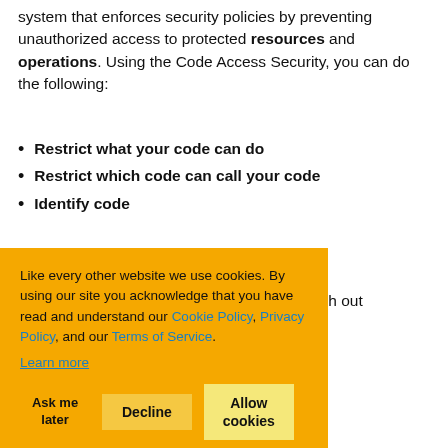system that enforces security policies by preventing unauthorized access to protected resources and operations. Using the Code Access Security, you can do the following:
Restrict what your code can do
Restrict which code can call your code
Identify code
We'll be discussing about these things through out ... familiar with
[Figure (screenshot): Cookie consent overlay in orange/yellow background with text: 'Like every other website we use cookies. By using our site you acknowledge that you have read and understand our Cookie Policy, Privacy Policy, and our Terms of Service. Learn more' with buttons: Ask me later, Decline, Allow cookies]
following
permissions